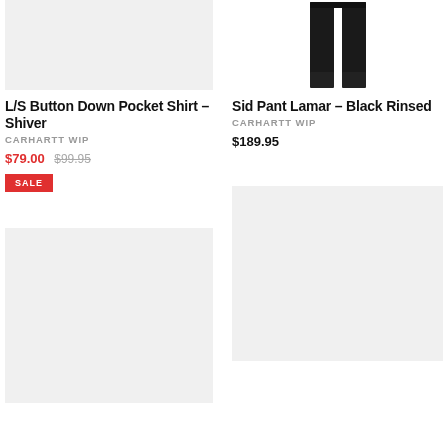[Figure (photo): Product image placeholder - light gray background for L/S Button Down Pocket Shirt Shiver]
L/S Button Down Pocket Shirt – Shiver
CARHARTT WIP
$79.00 $99.95
SALE
[Figure (photo): Product image - Sid Pant Lamar Black Rinsed pants on white background]
Sid Pant Lamar – Black Rinsed
CARHARTT WIP
$189.95
[Figure (photo): Product image placeholder - light gray background, bottom left product]
[Figure (photo): Product image placeholder - light gray background, bottom right product]